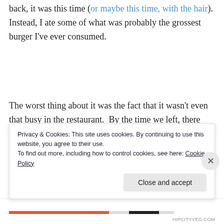back, it was this time (or maybe this time, with the hair). Instead, I ate some of what was probably the grossest burger I've ever consumed.
The worst thing about it was the fact that it wasn't even that busy in the restaurant.  By the time we left, there was a line out the door and I was not so subtly cough-yelling to anyone who would listen that they should really get their
Privacy & Cookies: This site uses cookies. By continuing to use this website, you agree to their use.
To find out more, including how to control cookies, see here: Cookie Policy
Close and accept
HIPCITYVEG.COM